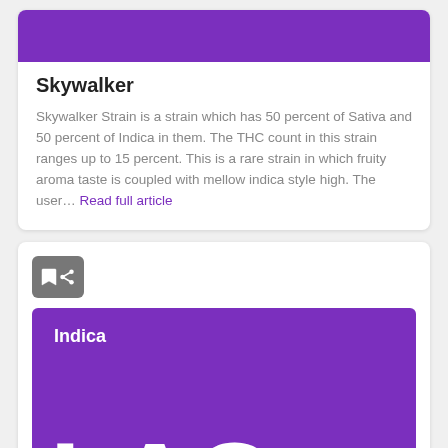[Figure (illustration): Purple banner image at top of Skywalker card]
Skywalker
Skywalker Strain is a strain which has 50 percent of Sativa and 50 percent of Indica in them. The THC count in this strain ranges up to 15 percent. This is a rare strain in which fruity aroma taste is coupled with mellow indica style high. The user… Read full article
[Figure (illustration): Second card with bookmark and share icons, purple banner showing 'Indica' label and large 'LAC' text]